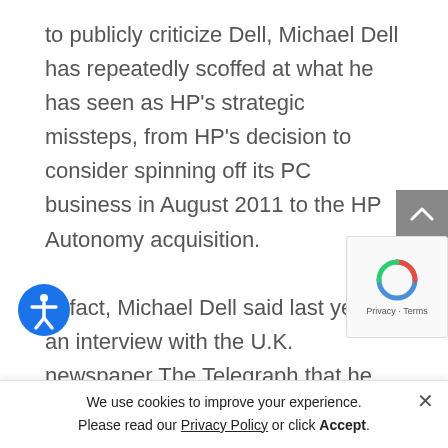to publicly criticize Dell, Michael Dell has repeatedly scoffed at what he has seen as HP's strategic missteps, from HP's decision to consider spinning off its PC business in August 2011 to the HP Autonomy acquisition.

In fact, Michael Dell said last year in an interview with the U.K. newspaper The Telegraph that he was offered a chance to buy Autonomy but rejected it because it w…
We use cookies to improve your experience. Please read our Privacy Policy or click Accept.